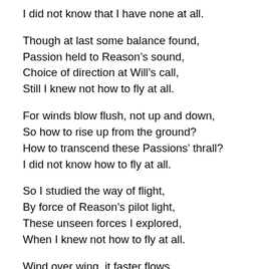I did not know that I have none at all.
Though at last some balance found,
Passion held to Reason’s sound,
Choice of direction at Will’s call,
Still I knew not how to fly at all.
For winds blow flush, not up and down,
So how to rise up from the ground?
How to transcend these Passions’ thrall?
I did not know how to fly at all.
So I studied the way of flight,
By force of Reason’s pilot light,
These unseen forces I explored,
When I knew not how to fly at all.
Wind over wing, it faster flows,